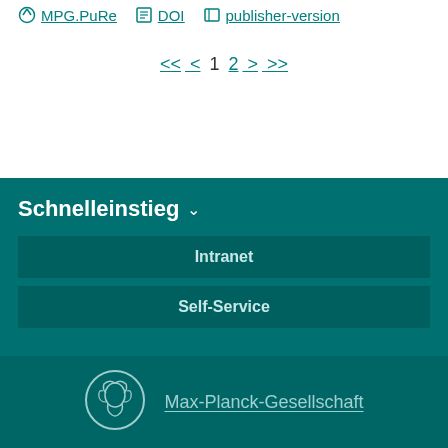MPG.PuRe  DOI  publisher-version
<< < 1 2 > >>
Schnelleinstieg
Intranet
Self-Service
[Figure (logo): Max-Planck-Gesellschaft medallion logo (circular, white outline on teal)]
Max-Planck-Gesellschaft